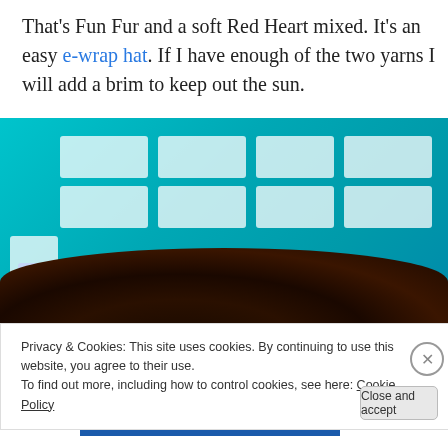That's Fun Fur and a soft Red Heart mixed. It's an easy e-wrap hat. If I have enough of the two yarns I will add a brim to keep out the sun.
[Figure (photo): A close-up photograph showing a loom or craft board with white rectangular pegs/slots arranged in a grid against a bright teal/cyan background, with dark braided hair visible at the bottom of the image.]
Privacy & Cookies: This site uses cookies. By continuing to use this website, you agree to their use. To find out more, including how to control cookies, see here: Cookie Policy